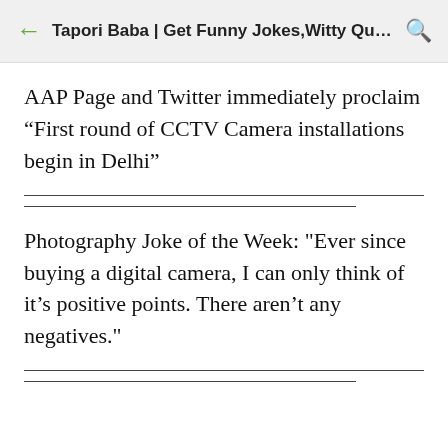Tapori Baba | Get Funny Jokes,Witty Quot...
AAP Page and Twitter immediately proclaim “First round of CCTV Camera installations begin in Delhi”
Photography Joke of the Week: "Ever since buying a digital camera, I can only think of it’s positive points. There aren’t any negatives."